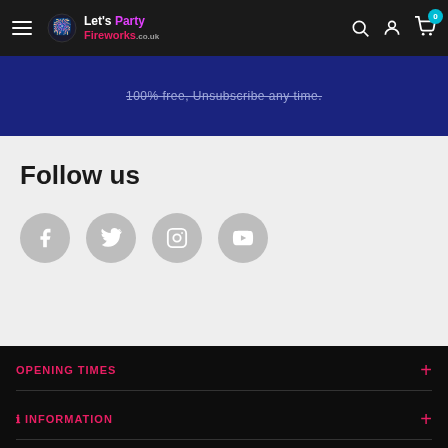Let's Party Fireworks - Navigation bar with hamburger menu, logo, search, account, and cart (0) icons
100% free, Unsubscribe any time.
Follow us
[Figure (infographic): Social media icons row: Facebook, Twitter, Instagram, YouTube - gray circles with white icons]
OPENING TIMES
ℹ INFORMATION
NEWSLETTER